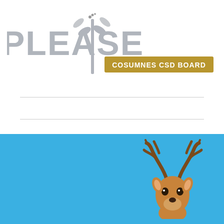[Figure (logo): Partial logo showing 'PLEASE COSUMNES CSD BOARD' with a stylized plant/torch graphic, gray and gold colors on white background]
[Figure (logo): Elk Grove Laguna News logo with black serif text 'Elk Grove' and bold sans-serif 'LAGUNA NEWS', accompanied by a brown elk/deer head illustration, on a blue background]